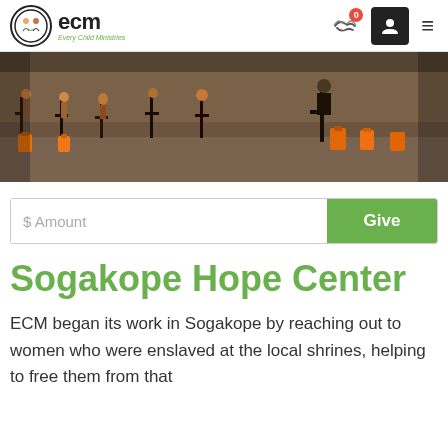ecm Every Child Ministries — navigation header
[Figure (photo): A crowd of people seated on chairs in an open sandy area; orange jerrycans visible on the ground; people appear to be waiting or gathered in a community setting]
$ Amount   Give
Sogakope Hope Center
ECM began its work in Sogakope by reaching out to women who were enslaved at the local shrines, helping to free them from that